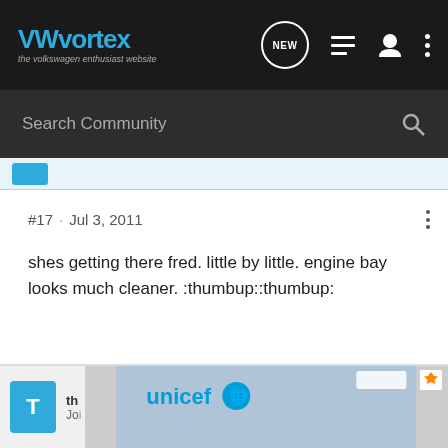VWvortex - the volkswagen enthusiast website
Search Community
#17 · Jul 3, 2011
shes getting there fred. little by little. engine bay looks much cleaner. :thumbup::thumbup:
Double Down Garage
th unicef
Jo